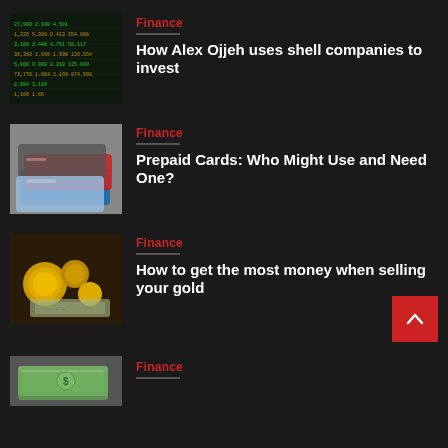[Figure (photo): Stock market ticker board with green numbers on dark background]
Finance
How Alex Ojjeh uses shell companies to invest
[Figure (photo): Stack of prepaid/credit cards (blue, red, dark) on gray surface]
Finance
Prepaid Cards: Who Might Use and Need One?
[Figure (photo): Gold jewelry and coins with currency notes]
Finance
How to get the most money when selling your gold
[Figure (photo): Stack of US dollar bills]
Finance